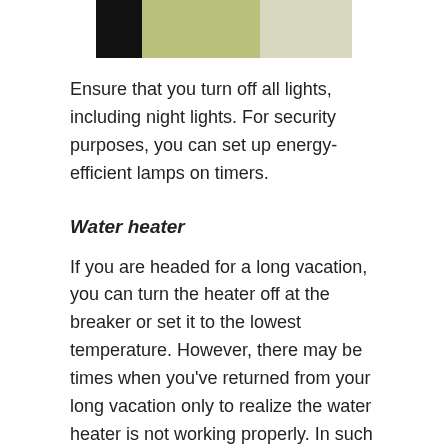[Figure (photo): Partial photo showing a person with dark hair against a light background, cropped at the top of the page.]
Ensure that you turn off all lights, including night lights. For security purposes, you can set up energy-efficient lamps on timers.
Water heater
If you are headed for a long vacation, you can turn the heater off at the breaker or set it to the lowest temperature. However, there may be times when you've returned from your long vacation only to realize the water heater is not working properly. In such cases, you could hire a technician from a company like Home Team Electric to come and do the necessary work. They are known to have a good reputation among their clients.
Air Conditioner
Okay, we all get it! You have got a new conditioner. You might have spent a considerable amount on the installation.